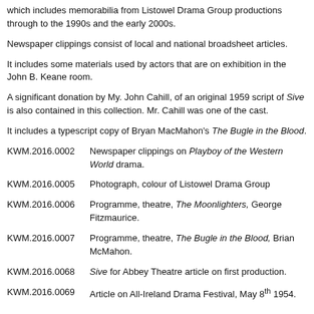which includes memorabilia from Listowel Drama Group productions through to the 1990s and the early 2000s.
Newspaper clippings consist of local and national broadsheet articles.
It includes some materials used by actors that are on exhibition in the John B. Keane room.
A significant donation by My. John Cahill, of an original 1959 script of Sive is also contained in this collection. Mr. Cahill was one of the cast.
It includes a typescript copy of Bryan MacMahon's The Bugle in the Blood.
KWM.2016.0002    Newspaper clippings on Playboy of the Western World drama.
KWM.2016.0005    Photograph, colour of Listowel Drama Group
KWM.2016.0006    Programme, theatre, The Moonlighters, George Fitzmaurice.
KWM.2016.0007    Programme, theatre, The Bugle in the Blood, Brian McMahon.
KWM.2016.0068    Sive for Abbey Theatre article on first production.
KWM.2016.0069    Article on All-Ireland Drama Festival, May 8th 1954.